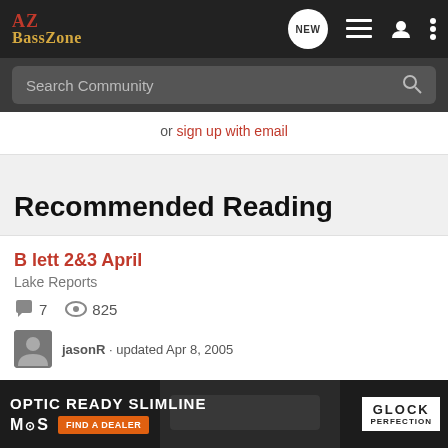AZ BassZone — navigation bar with logo and icons
Search Community
or sign up with email
Recommended Reading
B lett 2&3 April
Lake Reports
7  825
jasonR · updated Apr 8, 2005
Anyon
[Figure (screenshot): Glock advertisement banner — OPTIC READY SLIMLINE, MOS brand, FIND A DEALER button, Glock Perfection logo]